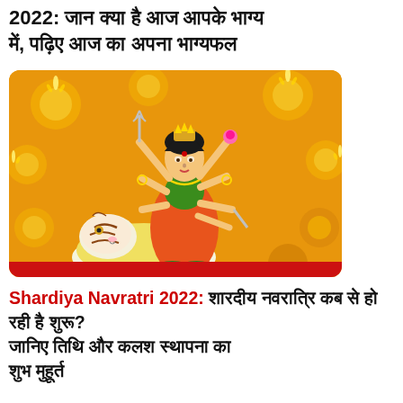2022: जान क्या है आज आपके भाग्य में, पढ़िए आज का अपना भाग्यफल
[Figure (illustration): Illustration of goddess Durga seated on a tiger, with multiple arms holding weapons and lotus, against a golden/orange background with decorative diya lamps around the border.]
Shardiya Navratri 2022: शारदीय नवरात्रि कब से हो रही है शुरू? जानिए तिथि और कलश स्थापना का शुभ मुहूर्त